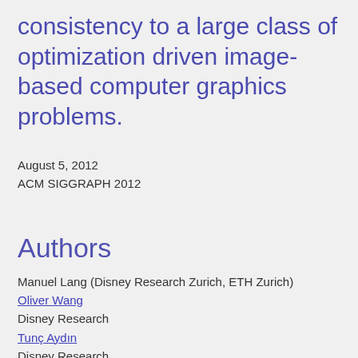consistency to a large class of optimization driven image-based computer graphics problems.
August 5, 2012
ACM SIGGRAPH 2012
Authors
Manuel Lang (Disney Research Zurich, ETH Zurich)
Oliver Wang
Disney Research
Tunç Aydın
Disney Research